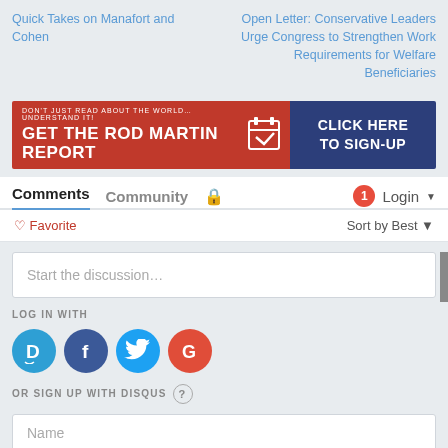Quick Takes on Manafort and Cohen
Open Letter: Conservative Leaders Urge Congress to Strengthen Work Requirements for Welfare Beneficiaries
[Figure (infographic): Red and navy banner ad: 'GET THE ROD MARTIN REPORT' with 'CLICK HERE TO SIGN-UP' on right]
Comments  Community  🔒  🔴1  Login ▼
♡ Favorite    Sort by Best ▼
Start the discussion…
LOG IN WITH
[Figure (logo): Social login icons: Disqus (D), Facebook (f), Twitter bird, Google (G)]
OR SIGN UP WITH DISQUS ?
Name